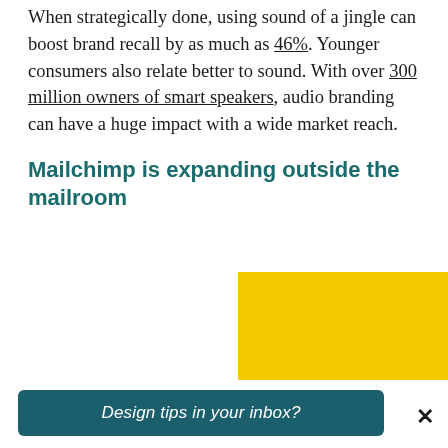When strategically done, using sound of a jingle can boost brand recall by as much as 46%. Younger consumers also relate better to sound. With over 300 million owners of smart speakers, audio branding can have a huge impact with a wide market reach.
Mailchimp is expanding outside the mailroom
[Figure (illustration): Side-by-side comparison of old and new Mailchimp logos. Left: white background with cursive 'MailChimp.' script logo in black. Right: yellow background with cartoon monkey head icon and bold lowercase 'mailchimp' wordmark in black.]
Design tips in your inbox?